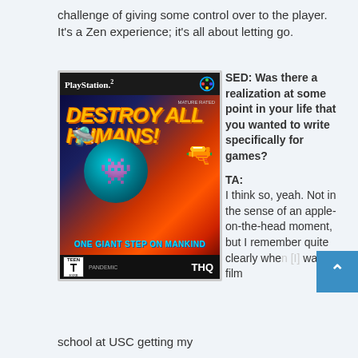challenge of giving some control over to the player.  It's a Zen experience; it's all about letting go.
[Figure (photo): PlayStation 2 game cover for 'Destroy All Humans!' showing an alien with a weapon, a flying saucer, and city destruction. Subtitle: 'ONE GIANT STEP ON MANKIND'. ESRB Teen rating, published by Pandemic and THQ.]
SED: Was there a realization at some point in your life that you wanted to write specifically for games?

TA: I think so, yeah. Not in the sense of an apple-on-the-head moment, but I remember quite clearly whe[n I] was in film
school at USC getting my